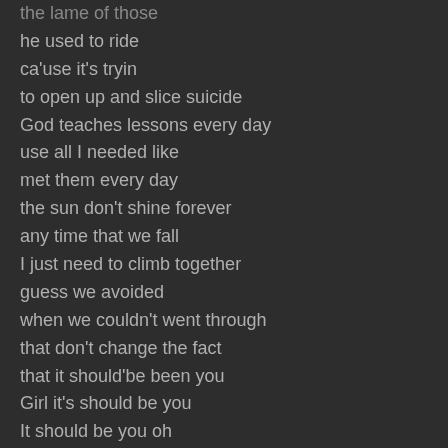the lame of those
he used to ride
ca'use it's tryin
to open up and slice suicide
God teaches lessons every day
use all I needed like
met them every day
the sun don't shine forever
any time that we fall
I just need to climb together
guess we avoided
when we couldn't went through
that don't change the fact
that it should'be been you
Girl it's should be you
It should be you oh
should be you and me